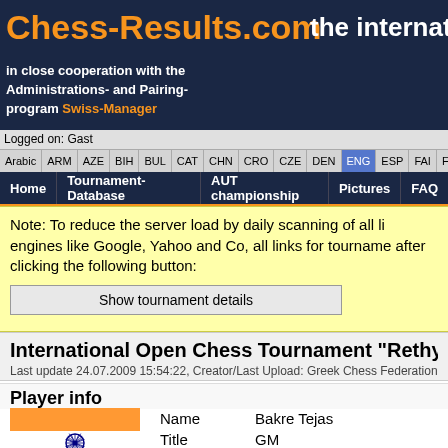Chess-Results.com   the internatio
in close cooperation with the Administrations- and Pairing-program Swiss-Manager
Logged on: Gast
Arabic | ARM | AZE | BIH | BUL | CAT | CHN | CRO | CZE | DEN | ENG | ESP | FAI | FIN | FRA | GER | GRE | INA
Home | Tournament-Database | AUT championship | Pictures | FAQ
Note: To reduce the server load by daily scanning of all li engines like Google, Yahoo and Co, all links for tourname after clicking the following button:
Show tournament details
International Open Chess Tournament "Rethyn
Last update 24.07.2009 15:54:22, Creator/Last Upload: Greek Chess Federation
Player info
[Figure (illustration): Indian national flag]
| Name | Bakre Tejas |
| Title | GM |
| Starting rank | 22 |